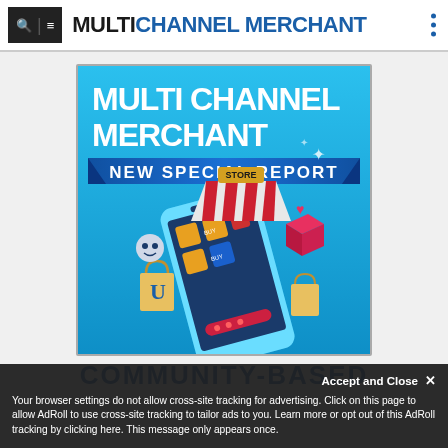MULTICHANNEL MERCHANT
[Figure (illustration): Multichannel Merchant New Special Report promotional banner showing a 3D smartphone with a store awning, shopping bags, and e-commerce icons on a blue background]
COMMUNITY-BASED
Your browser settings do not allow cross-site tracking for advertising. Click on this page to allow AdRoll to use cross-site tracking to tailor ads to you. Learn more or opt out of this AdRoll tracking by clicking here. This message only appears once.
Accept and Close ✕